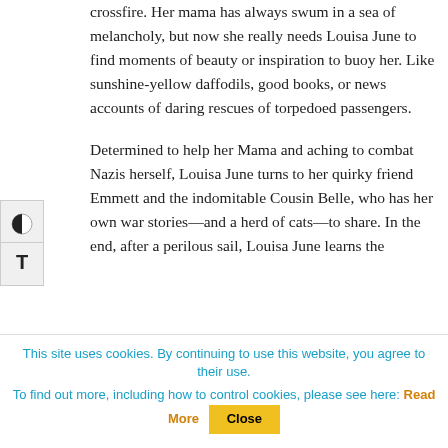crossfire. Her mama has always swum in a sea of melancholy, but now she really needs Louisa June to find moments of beauty or inspiration to buoy her. Like sunshine-yellow daffodils, good books, or news accounts of daring rescues of torpedoed passengers.
Determined to help her Mama and aching to combat Nazis herself, Louisa June turns to her quirky friend Emmett and the indomitable Cousin Belle, who has her own war stories—and a herd of cats—to share. In the end, after a perilous sail, Louisa June learns the
This site uses cookies. By continuing to use this website, you agree to their use.
To find out more, including how to control cookies, please see here: Read More   Close